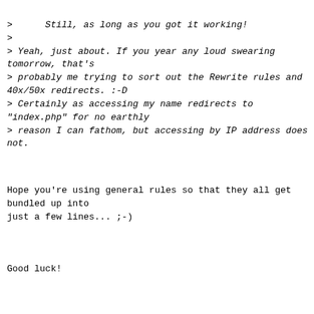>      Still, as long as you got it working!
>
> Yeah, just about. If you year any loud swearing tomorrow, that's
> probably me trying to sort out the Rewrite rules and 40x/50x redirects. :-D
> Certainly as accessing my name redirects to "index.php" for no earthly
> reason I can fathom, but accessing by IP address does not.
Hope you're using general rules so that they all get bundled up into
just a few lines... ;-)
Good luck!
(I'll have my music playing real loud so as not to hear ;-) )
Cheers,
Martin
--
- ------------------ - ---------------------------------------
--------